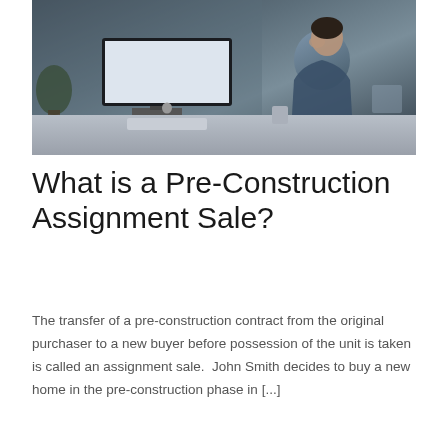[Figure (photo): A man sitting at a desk with an iMac computer, in contemplative pose with hand raised to face, in a dark-toned office setting]
What is a Pre-Construction Assignment Sale?
The transfer of a pre-construction contract from the original purchaser to a new buyer before possession of the unit is taken is called an assignment sale.  John Smith decides to buy a new home in the pre-construction phase in [...]